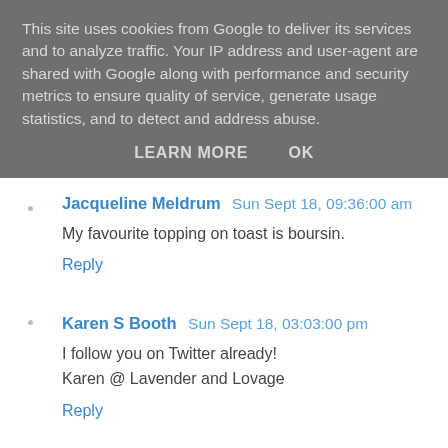This site uses cookies from Google to deliver its services and to analyze traffic. Your IP address and user-agent are shared with Google along with performance and security metrics to ensure quality of service, generate usage statistics, and to detect and address abuse.
LEARN MORE   OK
Jacqueline Meldrum  Sun Sept 18, 09:36:00 am
My favourite topping on toast is boursin.
Reply
Karen S Booth  Sun Sept 18, 03:03:00 pm
I follow you on Twitter already!
Karen @ Lavender and Lovage
Reply
Karen S Booth  Sun Sept 18, 03:03:00